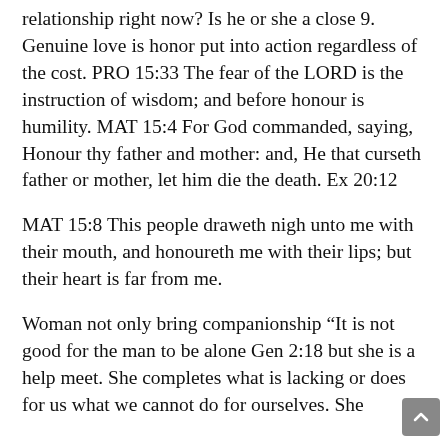relationship right now? Is he or she a close 9. Genuine love is honor put into action regardless of the cost. PRO 15:33 The fear of the LORD is the instruction of wisdom; and before honour is humility. MAT 15:4 For God commanded, saying, Honour thy father and mother: and, He that curseth father or mother, let him die the death. Ex 20:12
MAT 15:8 This people draweth nigh unto me with their mouth, and honoureth me with their lips; but their heart is far from me.
Woman not only bring companionship “It is not good for the man to be alone Gen 2:18 but she is a help meet. She completes what is lacking or does for us what we cannot do for ourselves. She